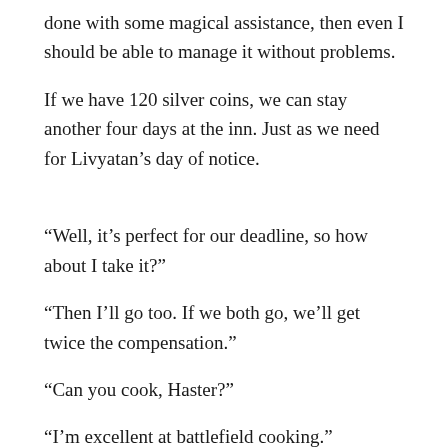done with some magical assistance, then even I should be able to manage it without problems.
If we have 120 silver coins, we can stay another four days at the inn. Just as we need for Livyatan’s day of notice.
“Well, it’s perfect for our deadline, so how about I take it?”
“Then I’ll go too. If we both go, we’ll get twice the compensation.”
“Can you cook, Haster?”
“I’m excellent at battlefield cooking.”